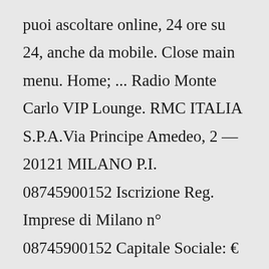puoi ascoltare online, 24 ore su 24, anche da mobile. Close main menu. Home; ... Radio Monte Carlo VIP Lounge. RMC ITALIA S.P.A.Via Principe Amedeo, 2 — 20121 MILANO P.I. 08745900152 Iscrizione Reg. Imprese di Milano n° 08745900152 Capitale Sociale: € 1.100.000,00RMC ITALIA S.P.A.Via Principe Amedeo, 2 — 20121 MILANO P.I. 08745900152 Iscrizione Reg. Imprese di Milano n°